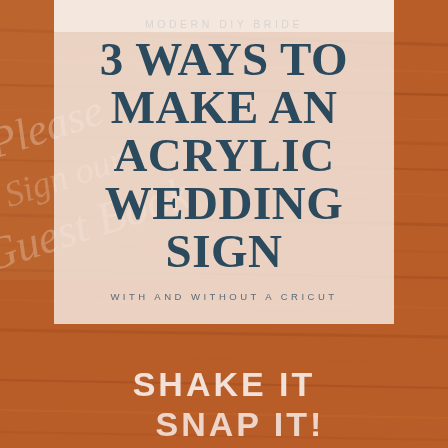[Figure (photo): Background photo of wooden surface with acrylic wedding signs showing cursive script text 'Please Sign our Guest Book' and 'Shake It Snap It!' in white lettering on a rust/orange-brown wood background]
MODERN DIY BRIDE
3 WAYS TO MAKE AN ACRYLIC WEDDING SIGN
WITH AND WITHOUT A CRICUT